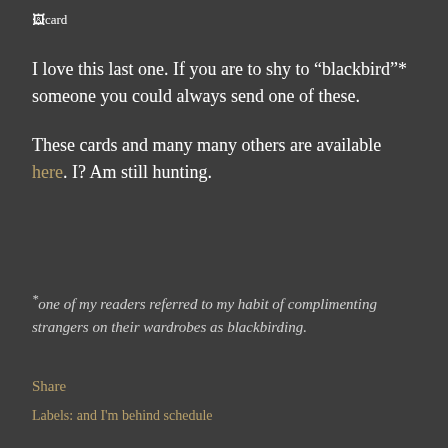[Figure (other): Broken image placeholder labeled 'card']
I love this last one. If you are to shy to "blackbird"* someone you could always send one of these.
These cards and many many others are available here. I? Am still hunting.
*one of my readers referred to my habit of complimenting strangers on their wardrobes as blackbirding.
Share
Labels: and I'm behind schedule